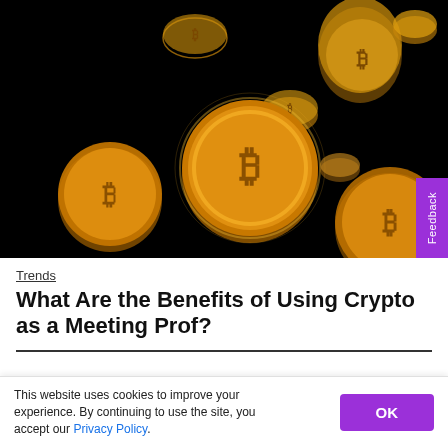[Figure (photo): Golden Bitcoin coins floating against a black background, showing the Bitcoin 'B' symbol on the coins, dramatic lighting with golden glow effect]
Trends
What Are the Benefits of Using Crypto as a Meeting Prof?
This website uses cookies to improve your experience. By continuing to use the site, you accept our Privacy Policy.